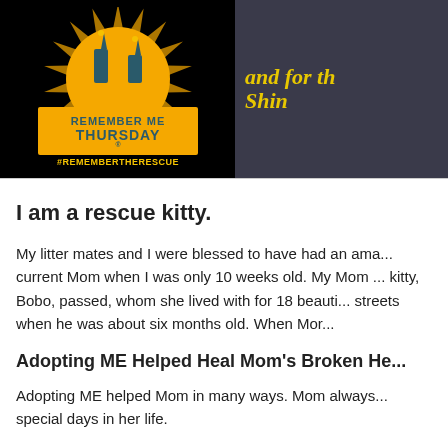[Figure (illustration): Banner image showing two panels: left panel has the 'Remember Me Thursday' logo with candles and sunburst rays on orange/yellow background with '#REMEMBERTHERESCUE' text below; right panel shows a partial view of a cat with yellow italic text reading 'and for th... Shin...']
I am a rescue kitty.
My litter mates and I were blessed to have had an ama... current Mom when I was only 10 weeks old. My Mom ... kitty, Bobo, passed, whom she lived with for 18 beauti... streets when he was about six months old. When Mor...
Adopting ME Helped Heal Mom's Broken He...
Adopting ME helped Mom in many ways. Mom always... special days in her life.